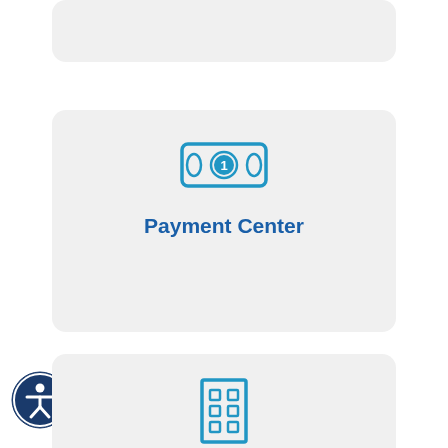[Figure (illustration): Partial gray rounded card at top of page (cropped)]
[Figure (infographic): Payment Center card with dollar bill icon and bold blue label 'Payment Center']
[Figure (illustration): Accessibility icon button (person in circle) on left side]
[Figure (infographic): Planning & Development card with building icon and bold blue label 'Planning & Development']